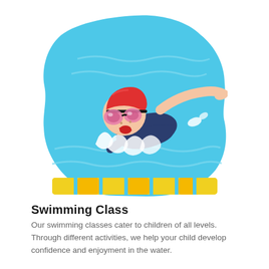[Figure (illustration): Cartoon illustration of a child swimmer doing the freestyle stroke in a swimming pool, wearing a red swim cap and pink goggles, with blue water, white wave splashes, and yellow lane dividers at the bottom. The pool background has a wavy cloud-like border.]
Swimming Class
Our swimming classes cater to children of all levels. Through different activities, we help your child develop confidence and enjoyment in the water.